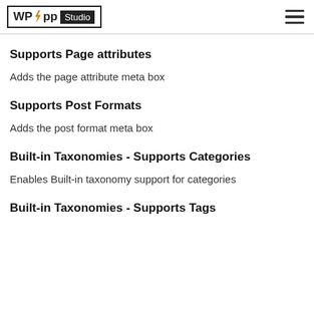WP App Studio
Supports Page attributes
Adds the page attribute meta box
Supports Post Formats
Adds the post format meta box
Built-in Taxonomies - Supports Categories
Enables Built-in taxonomy support for categories
Built-in Taxonomies - Supports Tags